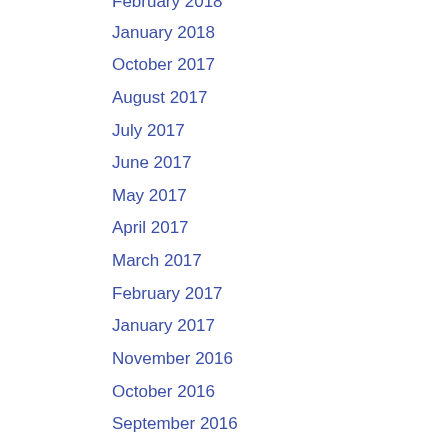February 2018
January 2018
October 2017
August 2017
July 2017
June 2017
May 2017
April 2017
March 2017
February 2017
January 2017
November 2016
October 2016
September 2016
August 2016
July 2016
June 2016
May 2016